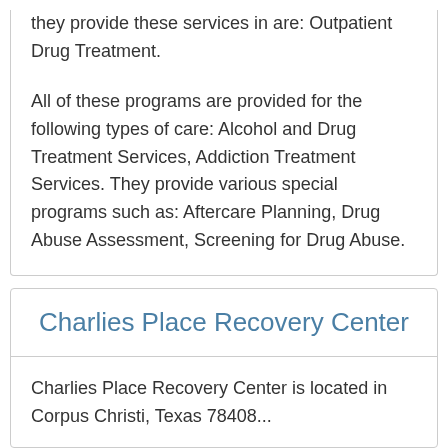they provide these services in are: Outpatient Drug Treatment.
All of these programs are provided for the following types of care: Alcohol and Drug Treatment Services, Addiction Treatment Services. They provide various special programs such as: Aftercare Planning, Drug Abuse Assessment, Screening for Drug Abuse.
Charlies Place Recovery Center
Charlies Place Recovery Center is located in Corpus Christi, Texas 78408...